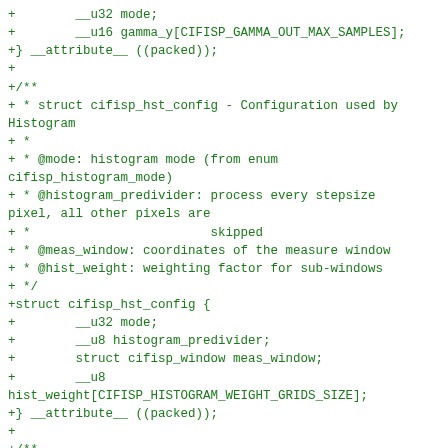+        __u32 mode;
+        __u16 gamma_y[CIFISP_GAMMA_OUT_MAX_SAMPLES];
+} __attribute__ ((packed));
+
+/**
+ * struct cifisp_hst_config - Configuration used by Histogram
+ *
+ * @mode: histogram mode (from enum cifisp_histogram_mode)
+ * @histogram_predivider: process every stepsize pixel, all other pixels are
+ *                        skipped
+ * @meas_window: coordinates of the measure window
+ * @hist_weight: weighting factor for sub-windows
+ */
+struct cifisp_hst_config {
+        __u32 mode;
+        __u8 histogram_predivider;
+        struct cifisp_window meas_window;
+        __u8
hist_weight[CIFISP_HISTOGRAM_WEIGHT_GRIDS_SIZE];
+} __attribute__ ((packed));
+
+/**
+ * struct cifisp_aec_config - Configuration used by Auto Exposure Control
+ *
+ * @mode: Exposure measure mode (from enum cifisp_exp_meas_mode)